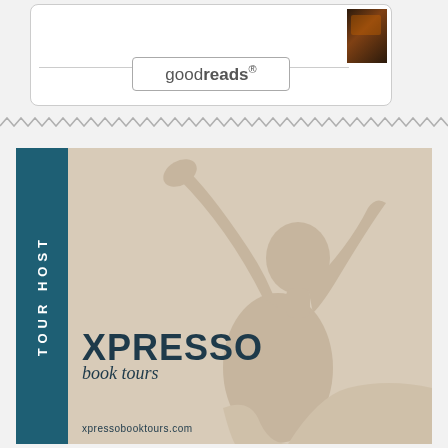[Figure (logo): Goodreads widget box with book thumbnail and goodreads button]
[Figure (other): Decorative wavy zigzag divider line in grey]
[Figure (logo): Xpresso Book Tours Tour Host banner with teal sidebar, silhouette of woman, XPRESSO book tours text, and xpressobooktours.com url]